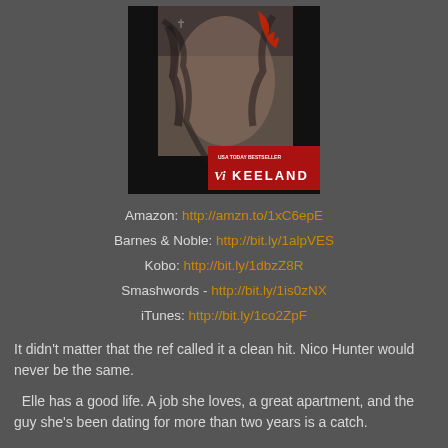[Figure (photo): Book cover showing a tattooed male torso in black and white with a red banner reading 'USA TODAY BESTSELLER VI KEELAND']
Amazon: http://amzn.to/1xC6epE
Barnes & Noble: http://bit.ly/1alpVES
Kobo: http://bit.ly/1dbzZ8R
Smashwords - http://bit.ly/1is0zNX
iTunes: http://bit.ly/1co2ZpF
It didn't matter that the ref called it a clean hit. Nico Hunter would never be the same.
Elle has a good life. A job she loves, a great apartment, and the guy she's been dating for more than two years is a catch.